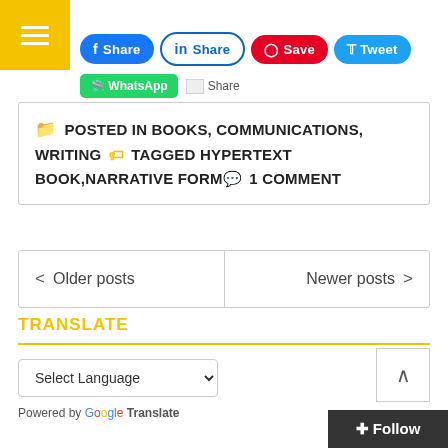[Figure (screenshot): Yellow hamburger menu button (top left)]
Share buttons: Facebook Share, LinkedIn Share, Pinterest Save, Twitter Tweet, WhatsApp, Share
📁 POSTED IN BOOKS, COMMUNICATIONS, WRITING 🏷 TAGGED HYPERTEXT BOOK,NARRATIVE FORM💬 1 COMMENT
< Older posts   Newer posts >
TRANSLATE
Select Language dropdown
Powered by Google Translate
[Figure (screenshot): Back to top arrow button]
+ Follow